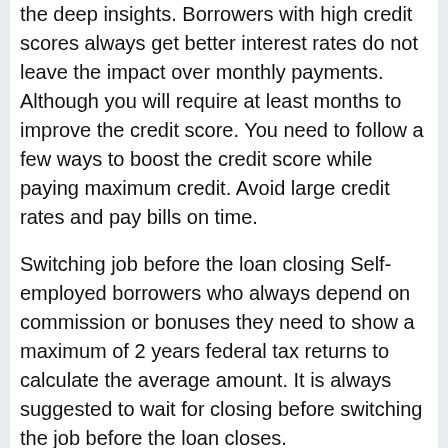the deep insights. Borrowers with high credit scores always get better interest rates do not leave the impact over monthly payments. Although you will require at least months to improve the credit score. You need to follow a few ways to boost the credit score while paying maximum credit. Avoid large credit rates and pay bills on time.
Switching job before the loan closing Self-employed borrowers who always depend on commission or bonuses they need to show a maximum of 2 years federal tax returns to calculate the average amount. It is always suggested to wait for closing before switching the job before the loan closes.
Omitting necessary information on the application
The mortgage application is the first step to get